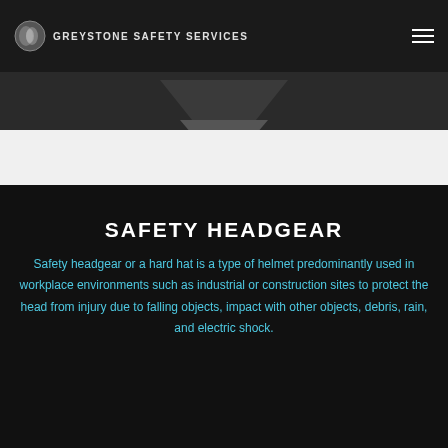Greystone Safety Services
[Figure (photo): Dark background hero image with a downward-pointing chevron/arrow shape in dark grey against a black background, with the Greystone Safety Services logo and hamburger menu in the navigation bar at top.]
SAFETY HEADGEAR
Safety headgear or a hard hat is a type of helmet predominantly used in workplace environments such as industrial or construction sites to protect the head from injury due to falling objects, impact with other objects, debris, rain, and electric shock.